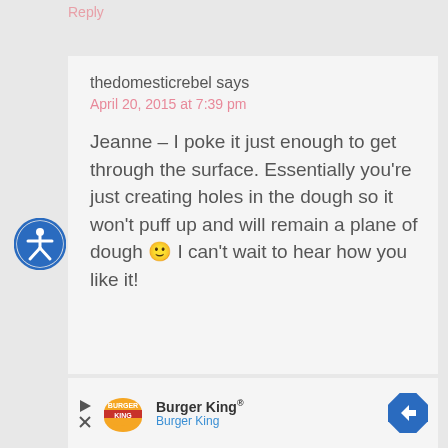Reply
thedomesticrebel says
April 20, 2015 at 7:39 pm
Jeanne – I poke it just enough to get through the surface. Essentially you're just creating holes in the dough so it won't puff up and will remain a plane of dough 🙂 I can't wait to hear how you like it!
[Figure (logo): Burger King advertisement with logo, name, and navigation arrow]